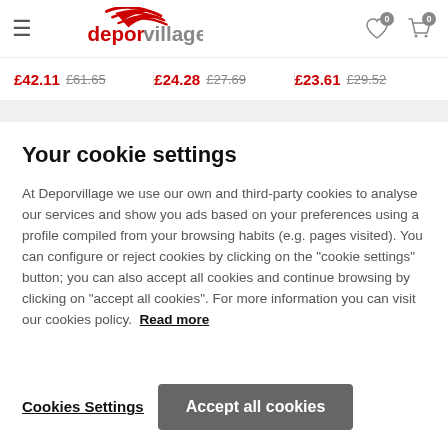[Figure (logo): Deporvillage logo with red stylized swoosh and brand name in red and gray text]
£42.11 £61.65   £24.28 £27.69   £23.61 £29.52
Your cookie settings
At Deporvillage we use our own and third-party cookies to analyse our services and show you ads based on your preferences using a profile compiled from your browsing habits (e.g. pages visited). You can configure or reject cookies by clicking on the "cookie settings" button; you can also accept all cookies and continue browsing by clicking on "accept all cookies". For more information you can visit our cookies policy. Read more
Cookies Settings
Accept all cookies